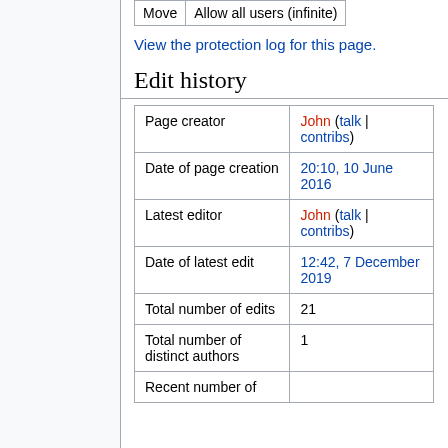| Move | Allow all users (infinite) |
| --- | --- |
View the protection log for this page.
Edit history
|  |  |
| --- | --- |
| Page creator | John (talk | contribs) |
| Date of page creation | 20:10, 10 June 2016 |
| Latest editor | John (talk | contribs) |
| Date of latest edit | 12:42, 7 December 2019 |
| Total number of edits | 21 |
| Total number of distinct authors | 1 |
| Recent number of |  |